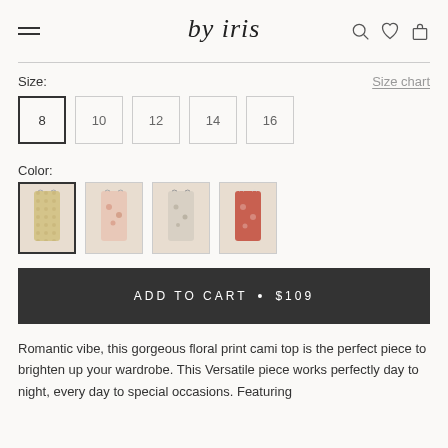by iris
Size:
Size chart
8  10  12  14  16
Color:
[Figure (photo): Four floral cami top color swatches: yellow floral (selected), pink floral, beige/grey floral, red floral]
ADD TO CART  •  $109
Romantic vibe, this gorgeous floral print cami top is the perfect piece to brighten up your wardrobe. This Versatile piece works perfectly day to night, every day to special occasions. Featuring